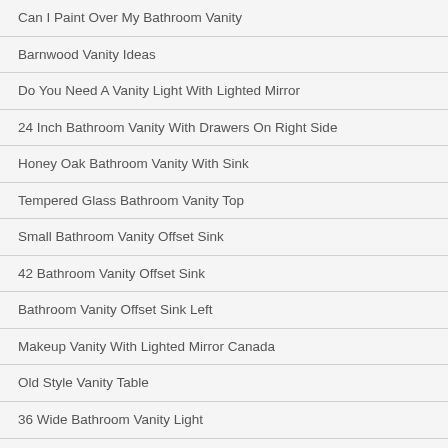Can I Paint Over My Bathroom Vanity
Barnwood Vanity Ideas
Do You Need A Vanity Light With Lighted Mirror
24 Inch Bathroom Vanity With Drawers On Right Side
Honey Oak Bathroom Vanity With Sink
Tempered Glass Bathroom Vanity Top
Small Bathroom Vanity Offset Sink
42 Bathroom Vanity Offset Sink
Bathroom Vanity Offset Sink Left
Makeup Vanity With Lighted Mirror Canada
Old Style Vanity Table
36 Wide Bathroom Vanity Light
How To Update Existing Bathroom Vanity
Antique Looking Vanity Table